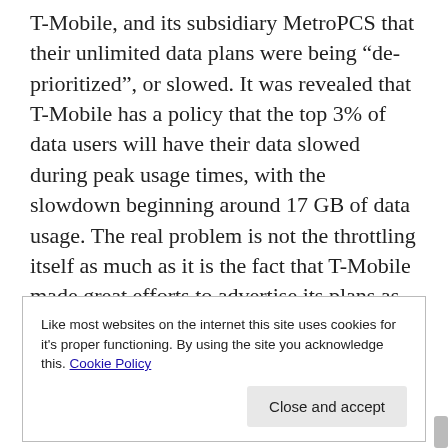T-Mobile, and its subsidiary MetroPCS that their unlimited data plans were being “de-prioritized”, or slowed. It was revealed that T-Mobile has a policy that the top 3% of data users will have their data slowed during peak usage times, with the slowdown beginning around 17 GB of data usage. The real problem is not the throttling itself as much as it is the fact that T-Mobile made great efforts to advertise its plans as “unlimited”, but did not make much of an effort to inform consumers of the “top 3% policy”
Like most websites on the internet this site uses cookies for it's proper functioning. By using the site you acknowledge this. Cookie Policy | Close and accept
a 20% discount on any phone accessory. In